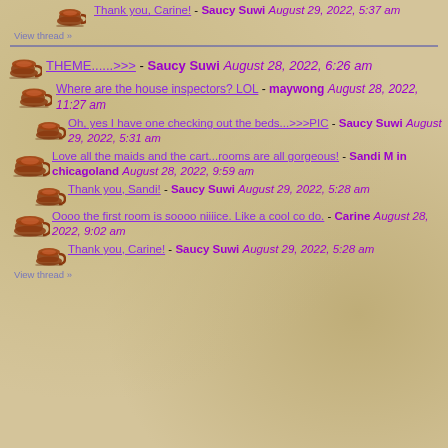Thank you, Carine! - Saucy Suwi August 29, 2022, 5:37 am
View thread »
THEME......>>> - Saucy Suwi August 28, 2022, 6:26 am
Where are the house inspectors? LOL - maywong August 28, 2022, 11:27 am
Oh, yes I have one checking out the beds...>>>PIC - Saucy Suwi August 29, 2022, 5:31 am
Love all the maids and the cart...rooms are all gorgeous! - Sandi M in chicagoland August 28, 2022, 9:59 am
Thank you, Sandi! - Saucy Suwi August 29, 2022, 5:28 am
Oooo the first room is soooo niiiice. Like a cool co do. - Carine August 28, 2022, 9:02 am
Thank you, Carine! - Saucy Suwi August 29, 2022, 5:28 am
View thread »